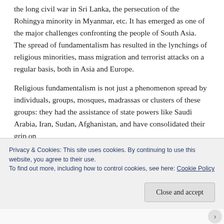the long civil war in Sri Lanka, the persecution of the Rohingya minority in Myanmar, etc. It has emerged as one of the major challenges confronting the people of South Asia. The spread of fundamentalism has resulted in the lynchings of religious minorities, mass migration and terrorist attacks on a regular basis, both in Asia and Europe.
Religious fundamentalism is not just a phenomenon spread by individuals, groups, mosques, madrassas or clusters of these groups: they had the assistance of state powers like Saudi Arabia, Iran, Sudan, Afghanistan, and have consolidated their grip on
Privacy & Cookies: This site uses cookies. By continuing to use this website, you agree to their use.
To find out more, including how to control cookies, see here: Cookie Policy